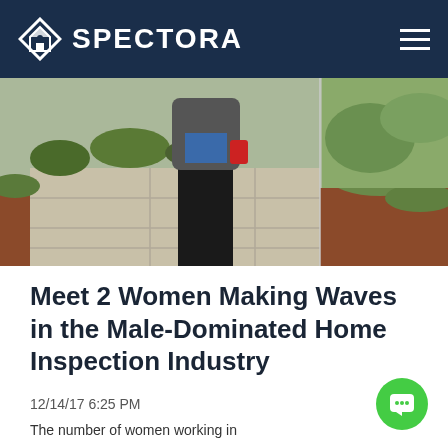SPECTORA
[Figure (photo): Outdoor photo of a person wearing black pants and a grey jacket with a red tool or device attached, standing on a stone walkway with grass and red-dirt landscaping visible in the background.]
Meet 2 Women Making Waves in the Male-Dominated Home Inspection Industry
12/14/17 6:25 PM
The number of women working in